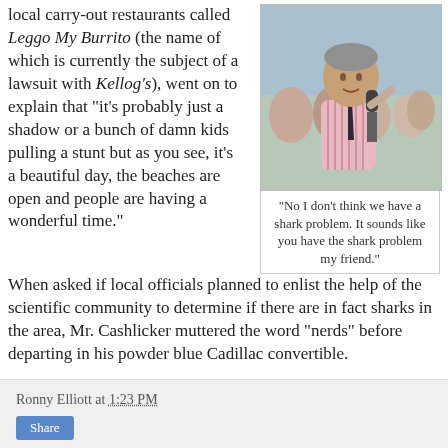local carry-out restaurants called Leggo My Burrito (the name of which is currently the subject of a lawsuit with Kellog's), went on to explain that "it's probably just a shadow or a bunch of damn kids pulling a stunt but as you see, it's a beautiful day, the beaches are open and people are having a wonderful time."
[Figure (photo): A man in a pink striped shirt holding a microphone, surrounded by people at a beach.]
"No I don't think we have a shark problem. It sounds like you have the shark problem my friend."
When asked if local officials planned to enlist the help of the scientific community to determine if there are in fact sharks in the area, Mr. Cashlicker muttered the word "nerds" before departing in his powder blue Cadillac convertible.
Email the Fantasy Golf Report at fgr@fantasygolfreport.com.
Ronny Elliott at 1:23 PM